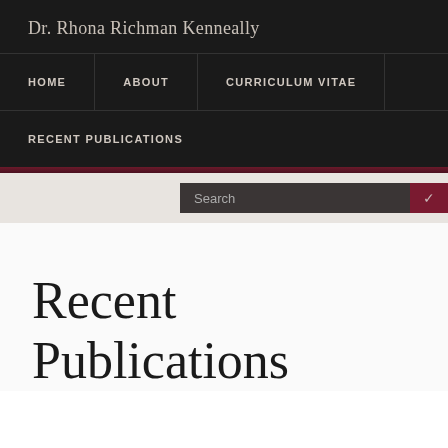Dr. Rhona Richman Kenneally
HOME | ABOUT | CURRICULUM VITAE | RECENT PUBLICATIONS
Recent Publications